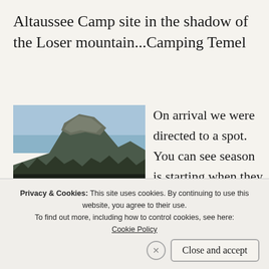Altaussee Camp site in the shadow of the Loser mountain...Camping Temel
[Figure (photo): Photograph of the Loser Plateau rocky mountain cliff face at dusk/twilight, with dark forested slopes below and light blue sky above. A timestamp reads 18/01/2017 21:20 in orange text at the bottom right.]
The Loser Plateau
On arrival we were directed to a spot. You can see season is starting when they don't let you just choose a spot, but you are given one that is
Privacy & Cookies: This site uses cookies. By continuing to use this website, you agree to their use.
To find out more, including how to control cookies, see here: Cookie Policy